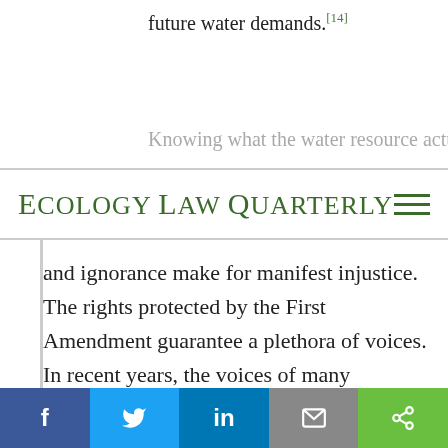future water demands.[14]
Knowing what the water resource actually is
ECOLOGY LAW QUARTERLY
and ignorance make for manifest injustice. The rights protected by the First Amendment guarantee a plethora of voices. In recent years, the voices of many Coloradans working in the state’s watersheds have resounded loud and clear. Colorado jointly settled the water rights of the Southern Ute and Ute Mountain